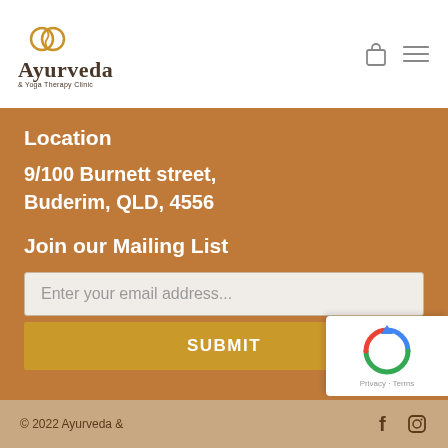[Figure (logo): Ayurveda & Yoga Therapy Clinic logo with interlinked circles icon]
Location
9/100 Burnett street, Buderim, QLD, 4556
Join our Mailing List
Enter your email address...
SUBMIT
© 2022 Ayurveda &